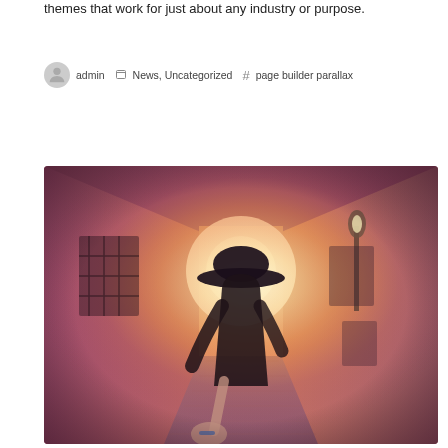themes that work for just about any industry or purpose.
admin   News, Uncategorized   # page builder parallax
[Figure (photo): Person wearing a wide-brimmed hat walking down a narrow cobblestone alley toward a bright light source, with warm orange and pink tones. Another person's hand is holding the walker's hand from behind.]